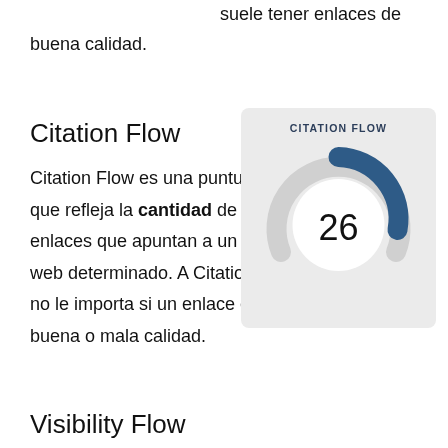suele tener enlaces de buena calidad.
Citation Flow
Citation Flow es una puntuación que refleja la cantidad de enlaces que apuntan a un sitio web determinado. A Citation Flow no le importa si un enlace es de buena o mala calidad.
[Figure (donut-chart): CITATION FLOW]
Visibility Flow